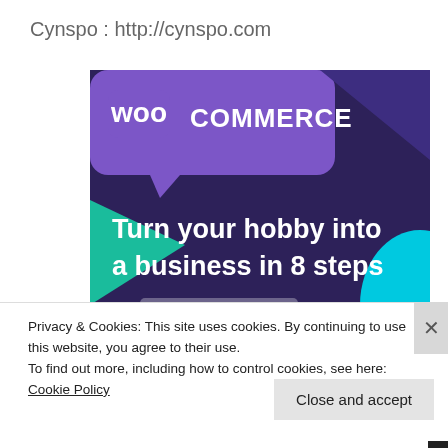Cynspo : http://cynspo.com
[Figure (screenshot): WooCommerce promotional banner with dark purple background, green and teal geometric shapes, WooCommerce logo at top, text 'Turn your hobby into a business in 8 steps']
Privacy & Cookies: This site uses cookies. By continuing to use this website, you agree to their use.
To find out more, including how to control cookies, see here: Cookie Policy
Close and accept